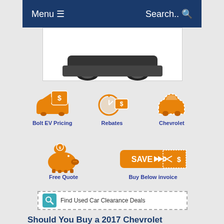Menu ☰    Search.. 🔍
[Figure (photo): Partial view of a car (bottom/wheels visible) against white background]
[Figure (infographic): Three orange icons: car with dollar sign tag (Bolt EV Pricing), stopwatch with dollar bill (Rebates), dashed-outline car (Chevrolet)]
Bolt EV Pricing
Rebates
Chevrolet
[Figure (infographic): Two orange icons: piggy bank with coin (Free Quote), SAVE coupon with scissors (Buy Below invoice)]
Free Quote
Buy Below invoice
Find Used Car Clearance Deals
Should You Buy a 2017 Chevrolet